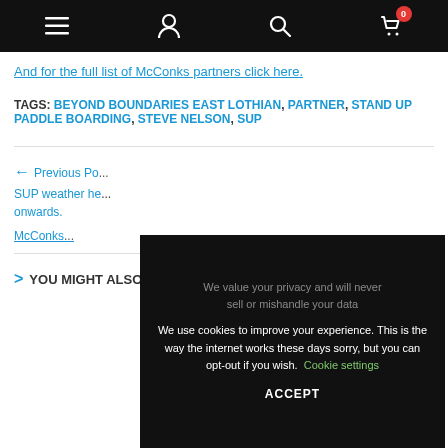Navigation bar with menu, user, search, and cart icons
And for the full list of McConks partners click here.
TAGS: BEYOND BOUNDARIES EAST LOTHIAN, PARTNER, STAND UP PADDLE BOARDING, STEVE NELSON, SUP
← Previous Post SUP weather he... onwards.
McConks...
> YOU MIGHT ALSO LIKE
[Figure (screenshot): Cookie consent modal overlay with dark background. Text reads: 'We value your privacy and will never sell or mishandle your data'. Body text: 'We use cookies to improve your experience. This is the way the internet works these days sorry, but you can opt-out if you wish.' with a 'Cookie settings' link in green and an 'ACCEPT' button in white text.]